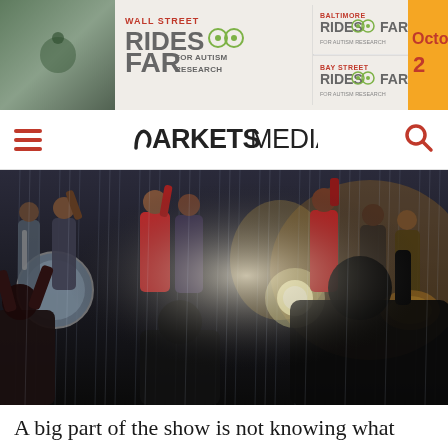[Figure (photo): Banner advertisement for 'Wall Street Rides FAR for Autism Research', 'Baltimore Rides FAR', and 'Bay Street Rides FAR' with an orange panel showing 'Octo 2...']
MARKETS MEDIA
[Figure (photo): Concert/performance photo showing band members on stage in rain with audience members in foreground with hands raised]
A big part of the show is not knowing what